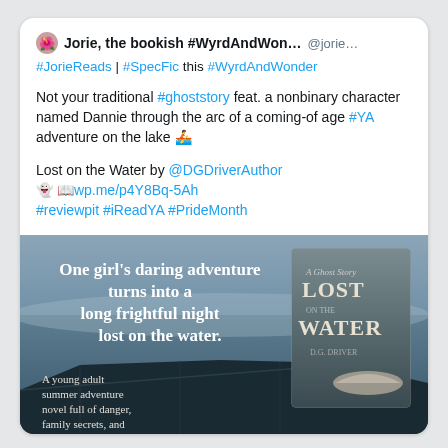Jorie, the bookish #WyrdAndWon…  @jorie…
#JorieReads | #SpecFic this #WyrdAndWonder
Not your traditional #ghoststory feat. a nonbinary character named Dannie through the arc of a coming-of-age #YA adventure on the lake 🚣
Lost on the Water by @DGDriverAuthor
👻 📖 wp.me/p4Y8Bq-5Ah
#reviewpit #iReadYA #PrideMonth
[Figure (illustration): Book promotional image for 'Lost on the Water' showing a dark lake with a canoe in the foreground and a book cover. Text reads: 'One girl's daring adventure turns into a long frightful night lost on the water.' and 'A young adult summer adventure novel full of danger, family secrets, and ghosts.']
8:43 PM · Jun 6, 2019